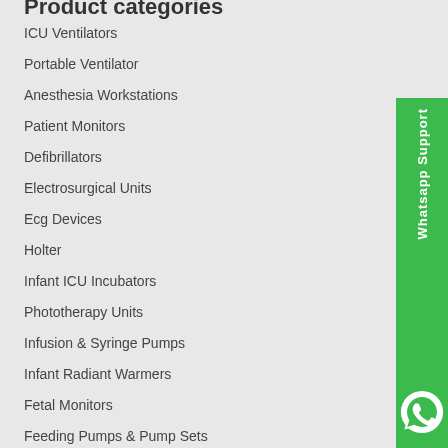Product categories
ICU Ventilators
Portable Ventilator
Anesthesia Workstations
Patient Monitors
Defibrillators
Electrosurgical Units
Ecg Devices
Holter
Infant ICU Incubators
Phototherapy Units
Infusion & Syringe Pumps
Infant Radiant Warmers
Fetal Monitors
Feeding Pumps & Pump Sets
[Figure (logo): WhatsApp Support green sidebar with phone icon and rotated text 'Whatsapp Support']